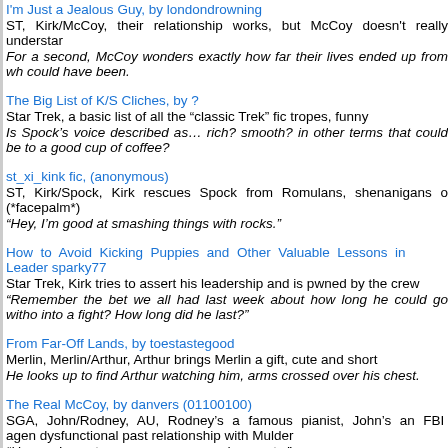I'm Just a Jealous Guy, by londondrowning
ST, Kirk/McCoy, their relationship works, but McCoy doesn't really understand...
For a second, McCoy wonders exactly how far their lives ended up from wh... could have been.
The Big List of K/S Cliches, by ?
Star Trek, a basic list of all the "classic Trek" fic tropes, funny
Is Spock's voice described as… rich? smooth? in other terms that could be... to a good cup of coffee?
st_xi_kink fic, (anonymous)
ST, Kirk/Spock, Kirk rescues Spock from Romulans, shenanigans o... (*facepalm*)
"Hey, I'm good at smashing things with rocks."
How to Avoid Kicking Puppies and Other Valuable Lessons in Leader... sparky77
Star Trek, Kirk tries to assert his leadership and is pwned by the crew
"Remember the bet we all had last week about how long he could go witho... into a fight? How long did he last?"
From Far-Off Lands, by toestastegood
Merlin, Merlin/Arthur, Arthur brings Merlin a gift, cute and short
He looks up to find Arthur watching him, arms crossed over his chest.
The Real McCoy, by danvers (01100100)
SGA, John/Rodney, AU, Rodney's a famous pianist, John's an FBI agen... dysfunctional past relationship with Mulder
"Hey, we've got a new case no one else wants."
Wherein Kirk and Spock Have Inadvisable Drunken Sex, by ifyouweremine
Star Trek, Kirk/Spock, pretty much just what it says in the title
"We should not be doing this," said Spock.